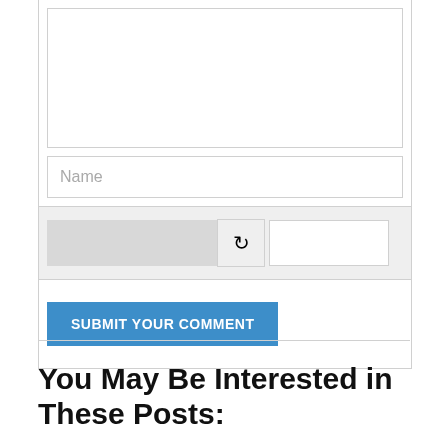[Figure (screenshot): Web comment form with textarea, name field, CAPTCHA (blurred image with refresh icon and input box), and a blue 'SUBMIT YOUR COMMENT' button]
You May Be Interested in These Posts: